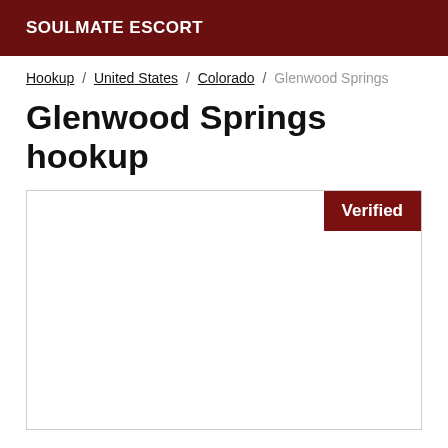SOULMATE ESCORT
Hookup / United States / Colorado / Glenwood Springs
Glenwood Springs hookup
[Figure (other): Listing card with a Verified badge in the top-right corner and an empty white content area below]